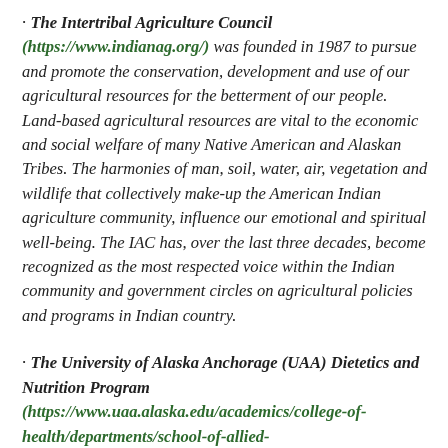The Intertribal Agriculture Council (https://www.indianag.org/) was founded in 1987 to pursue and promote the conservation, development and use of our agricultural resources for the betterment of our people. Land-based agricultural resources are vital to the economic and social welfare of many Native American and Alaskan Tribes. The harmonies of man, soil, water, air, vegetation and wildlife that collectively make-up the American Indian agriculture community, influence our emotional and spiritual well-being. The IAC has, over the last three decades, become recognized as the most respected voice within the Indian community and government circles on agricultural policies and programs in Indian country.
The University of Alaska Anchorage (UAA) Dietetics and Nutrition Program (https://www.uaa.alaska.edu/academics/college-of-health/departments/school-of-allied-health/academics/dietetics-nutrition/) is a statewide education